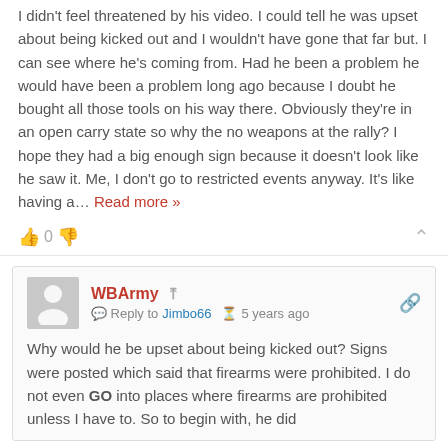I didn't feel threatened by his video. I could tell he was upset about being kicked out and I wouldn't have gone that far but. I can see where he's coming from. Had he been a problem he would have been a problem long ago because I doubt he bought all those tools on his way there. Obviously they're in an open carry state so why the no weapons at the rally? I hope they had a big enough sign because it doesn't look like he saw it. Me, I don't go to restricted events anyway. It's like having a… Read more »
WBArmy Reply to Jimbo66 5 years ago Why would he be upset about being kicked out? Signs were posted which said that firearms were prohibited. I do not even GO into places where firearms are prohibited unless I have to. So to begin with, he did